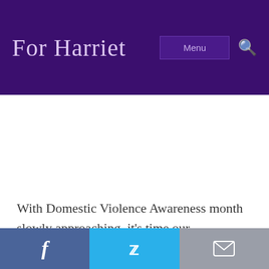For Harriet
With Domestic Violence Awareness month slowly approaching, it's time our community does some real soul searching on its responsibility to Black women and girls, and
Facebook | Twitter | Email